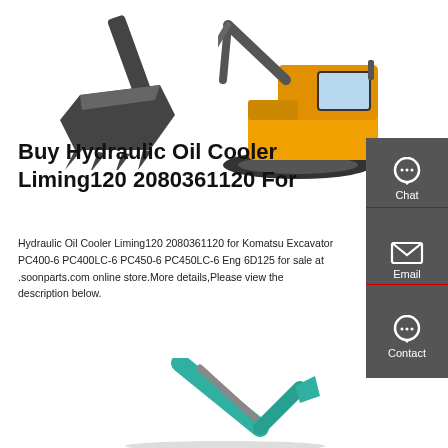[Figure (photo): Excavator bucket attachment (dark/black), left side top image]
[Figure (photo): Yellow/orange Komatsu excavator, right side top image]
Buy Hydraulic Oil Cooler Liming120 2080361120 For
Hydraulic Oil Cooler Liming120 2080361120 for Komatsu Excavator PC400-6 PC400LC-6 PC450-6 PC450LC-6 Eng 6D125 for sale at .soonparts.com online store.More details,Please view the description below.
Get a quote
[Figure (photo): Teal/green excavator arm and bucket, bottom of page image]